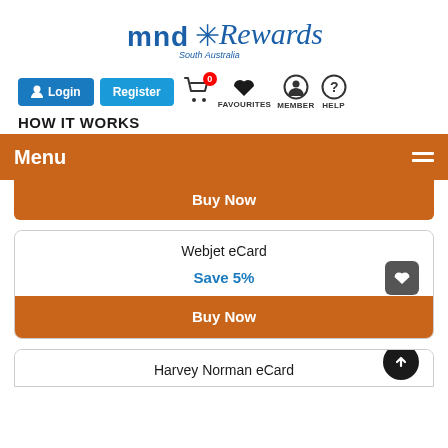[Figure (logo): MND South Australia Rewards logo — blue MND text with snowflake, cursive Rewards text]
[Figure (screenshot): Navigation bar with Login and Register buttons, cart icon with 0 badge, Favourites heart, Member person icon, Help question mark]
HOW IT WORKS
Menu
Buy Now
Webjet eCard
Save 5%
Buy Now
Harvey Norman eCard